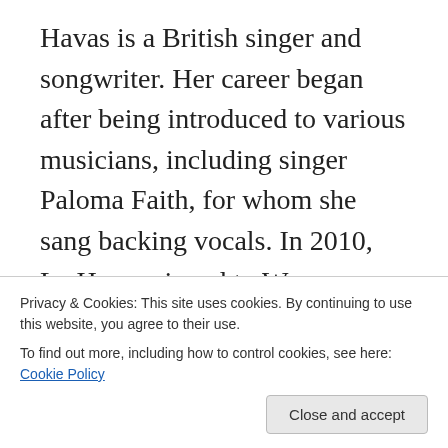Havas is a British singer and songwriter. Her career began after being introduced to various musicians, including singer Paloma Faith, for whom she sang backing vocals. In 2010, La Havas signed to Warner Bros. Records, spending two years developing her songwriting, before releasing any music. La Havas' debut studio album, Is Your Love Big Enough? (2012), was released to positive reviews from critics and earned her a nomination for the BBC's Sound of 2012 poll and awards for the iTunes Album of The Year 2012. La Havas was born and raised in London
Privacy & Cookies: This site uses cookies. By continuing to use this website, you agree to their use. To find out more, including how to control cookies, see here: Cookie Policy
Close and accept
and cites her parents' diverse musical tastes as having